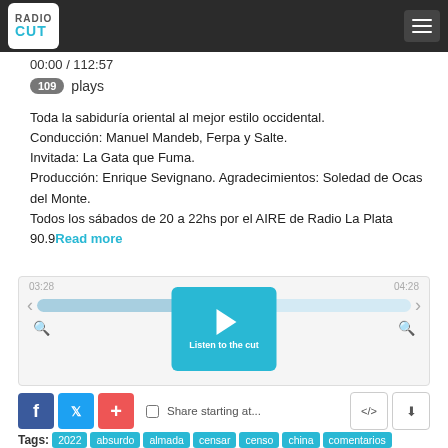RadioCut
00:00 / 112:57
109 plays
Toda la sabiduría oriental al mejor estilo occidental.
Conducción: Manuel Mandeb, Ferpa y Salte.
Invitada: La Gata que Fuma.
Producción: Enrique Sevignano. Agradecimientos: Soledad de Ocas del Monte.
Todos los sábados de 20 a 22hs por el AIRE de Radio La Plata 90.9 Read more
[Figure (screenshot): Audio player with play button labeled 'Listen to the cut', progress bar, time markers 03:28 and 04:28, zoom and rewind controls]
Share starting at...
Tags: 2022 absurdo almada censar censo china comentarios del otro lado del mundo fama fer ferpa fuma gata gata que fuma guille haters humor influencer instagram